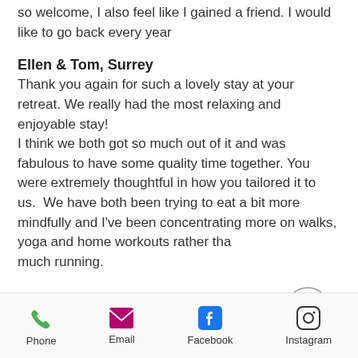so welcome, I also feel like I gained a friend. I would like to go back every year
Ellen & Tom, Surrey
Thank you again for such a lovely stay at your retreat. We really had the most relaxing and enjoyable stay!
I think we both got so much out of it and was fabulous to have some quality time together. You were extremely thoughtful in how you tailored it to us.  We have both been trying to eat a bit more mindfully and I've been concentrating more on walks, yoga and home workouts rather than too much running.
Angela, Surrey
I wanted to thank you properly for such a fantastic experience and a wonderful few
Phone  Email  Facebook  Instagram